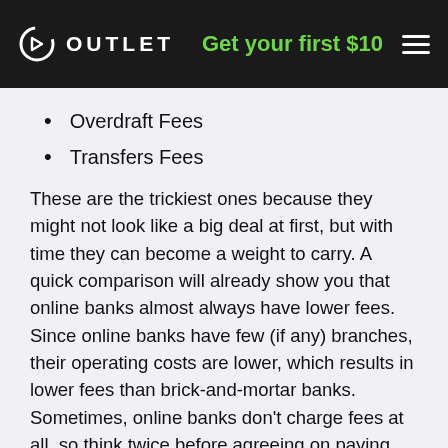OUTLET — Get your first $10
Overdraft Fees
Transfers Fees
These are the trickiest ones because they might not look like a big deal at first, but with time they can become a weight to carry. A quick comparison will already show you that online banks almost always have lower fees. Since online banks have few (if any) branches, their operating costs are lower, which results in lower fees than brick-and-mortar banks. Sometimes, online banks don't charge fees at all, so think twice before agreeing on paying unnecessary charges.
Another factor to take into consideration when choosing your